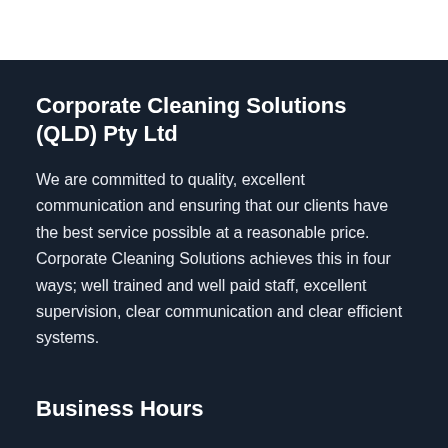Corporate Cleaning Solutions (QLD) Pty Ltd
We are committed to quality, excellent communication and ensuring that our clients have the best service possible at a reasonable price. Corporate Cleaning Solutions achieves this in four ways; well trained and well paid staff, excellent supervision, clear communication and clear efficient systems.
Business Hours